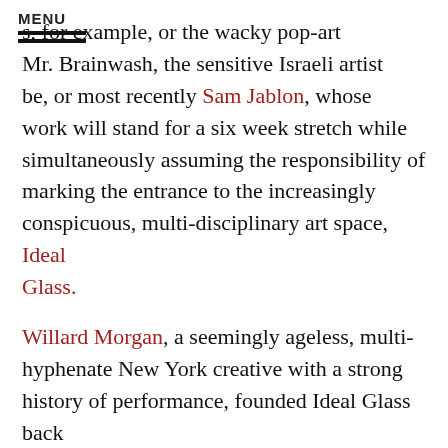MENU
s, for example, or the wacky pop-art Mr. Brainwash, the sensitive Israeli artist be, or most recently Sam Jablon, whose work will stand for a six week stretch while simultaneously assuming the responsibility of marking the entrance to the increasingly conspicuous, multi-disciplinary art space, Ideal Glass.
Willard Morgan, a seemingly ageless, multi-hyphenate New York creative with a strong history of performance, founded Ideal Glass back in 2004. The malleable East Village space, built by Morgan's uncle in 1955, has since blossomed into a multi-generational art collective, while striving